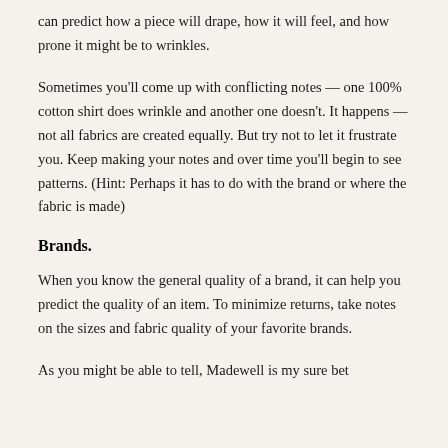can predict how a piece will drape, how it will feel, and how prone it might be to wrinkles.
Sometimes you'll come up with conflicting notes — one 100% cotton shirt does wrinkle and another one doesn't. It happens — not all fabrics are created equally. But try not to let it frustrate you. Keep making your notes and over time you'll begin to see patterns. (Hint: Perhaps it has to do with the brand or where the fabric is made)
Brands.
When you know the general quality of a brand, it can help you predict the quality of an item. To minimize returns, take notes on the sizes and fabric quality of your favorite brands.
As you might be able to tell, Madewell is my sure bet